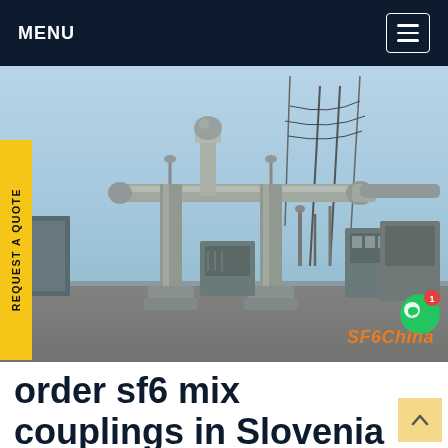MENU
[Figure (photo): Electrical substation with SF6 gas-insulated equipment, pipes, and high-voltage infrastructure. Watermark reads 'SF6China'.]
REQUEST A QUOTE
order sf6 mix couplings in Slovenia